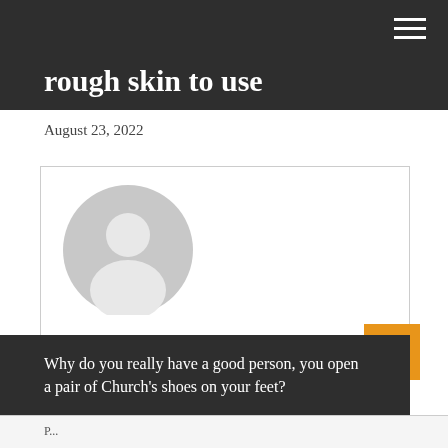rough skin to use
August 23, 2022
[Figure (illustration): Default grey avatar/profile picture showing a silhouette of a person]
About ArticleManager
View all posts by ArticleManager →
Why do you really have a good person, you open a pair of Church's shoes on your feet?